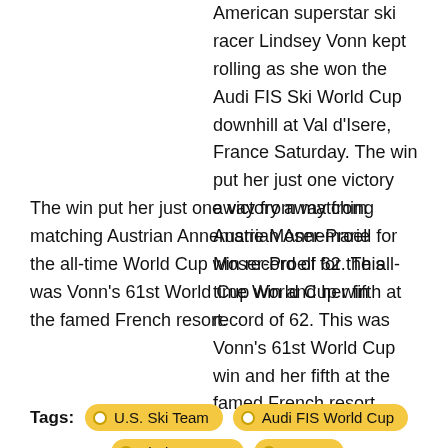American superstar ski racer Lindsey Vonn kept rolling as she won the Audi FIS Ski World Cup downhill at Val d'Isere, France Saturday. The win put her just one victory away from matching Austrian Annemarie Moser-Proell for the all-time World Cup win record of 62. This was Vonn's 61st World Cup win and her fifth at the famed French resort.
Continue reading
Tags: U.S. Ski Team | Audi FIS World Cup | Lindsey Vonn | France